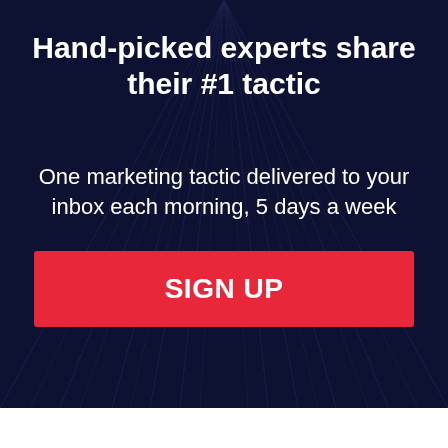Hand-picked experts share their #1 tactic
One marketing tactic delivered to your inbox each morning, 5 days a week
SIGN UP